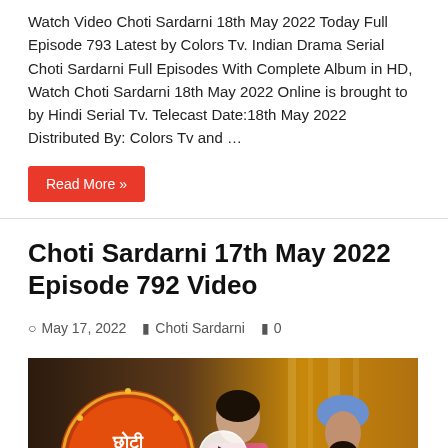Watch Video Choti Sardarni 18th May 2022 Today Full Episode 793 Latest by Colors Tv. Indian Drama Serial Choti Sardarni Full Episodes With Complete Album in HD, Watch Choti Sardarni 18th May 2022 Online is brought to by Hindi Serial Tv. Telecast Date:18th May 2022 Distributed By: Colors Tv and …
Read More »
Choti Sardarni 17th May 2022 Episode 792 Video
May 17, 2022   Choti Sardarni   0
[Figure (photo): Thumbnail for Choti Sardarni episode video showing two actors — a woman in pink saree and a man in blue turban — with the show's Devanagari logo on the left and a play button overlay in the center]